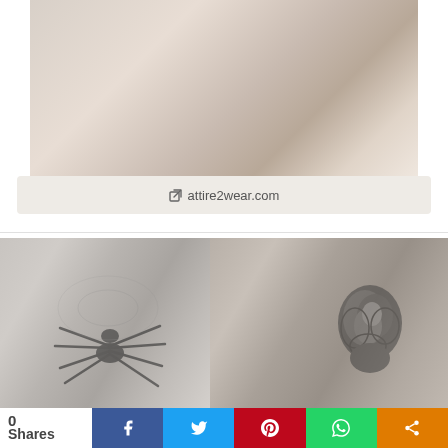[Figure (photo): Close-up photo of a person's arm or knee area showing smooth skin against a light fabric background]
attire2wear.com
[Figure (photo): Black and grey realistic spider tattoo on a person's knee]
[Figure (photo): Black and grey realistic rose tattoo on a person's finger/knuckle]
0 Shares